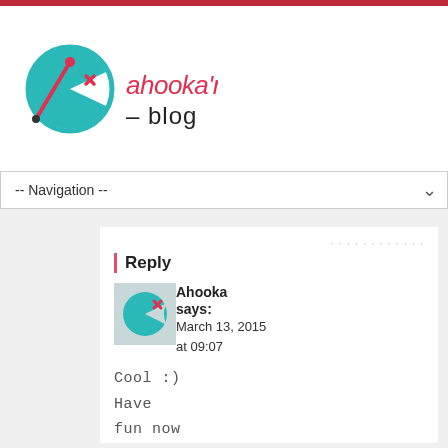Ahooka'migurumi – blog
-- Navigation --
Reply
Ahooka says:
March 13, 2015 at 09:07
[Figure (logo): Ahooka avatar - teal pac-man style character with red X eye on grey background]
Cool :)
Have
fun now
^^
Free Amigurumi Patterns & Tutorials • wixxl
March 29, 2015 at 13:35
[...] Get the pattern for this